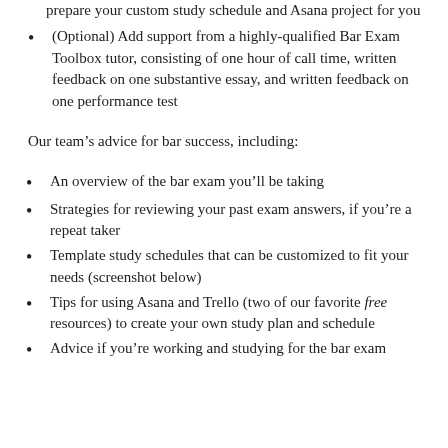prepare your custom study schedule and Asana project for you
(Optional) Add support from a highly-qualified Bar Exam Toolbox tutor, consisting of one hour of call time, written feedback on one substantive essay, and written feedback on one performance test
Our team’s advice for bar success, including:
An overview of the bar exam you’ll be taking
Strategies for reviewing your past exam answers, if you’re a repeat taker
Template study schedules that can be customized to fit your needs (screenshot below)
Tips for using Asana and Trello (two of our favorite free resources) to create your own study plan and schedule
Advice if you’re working and studying for the bar exam